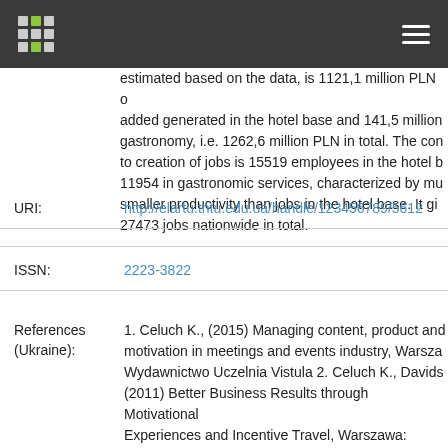Navigation bar with logo and hamburger menu
estimated based on the data, is 1121,1 million PLN of value added generated in the hotel base and 141,5 million gastronomy, i.e. 1262,6 million PLN in total. The contribution to creation of jobs is 15519 employees in the hotel base, 11954 in gastronomic services, characterized by much smaller productivity than jobs in the hotel base. It gives 27473 jobs nationwide in total.
URI: http://elartu.tntu.edu.ua/handle/123456789/5612
ISSN: 2223-3822
References (Ukraine): 1. Celuch K., (2015) Managing content, product and motivation in meetings and events industry, Warszawa: Wydawnictwo Uczelnia Vistula 2. Celuch K., Davidson (2011) Better Business Results through Motivational Experiences and Incentive Travel, Warszawa: Wydawnictwo Uczelnia Vistula 3. Hofstede G., Hofstede G. J. (2000) Kultury i organizacje, Warszawa: Polskie Wydawnictwo Ekonomiczne 4. Taylor C., Lee DH. (2007) Cross-cu